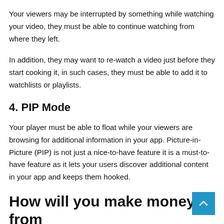Your viewers may be interrupted by something while watching your video, they must be able to continue watching from where they left.
In addition, they may want to re-watch a video just before they start cooking it, in such cases, they must be able to add it to watchlists or playlists.
4. PIP Mode
Your player must be able to float while your viewers are browsing for additional information in your app. Picture-in-Picture (PIP) is not just a nice-to-have feature it is a must-to-have feature as it lets your users discover additional content in your app and keeps them hooked.
How will you make money from